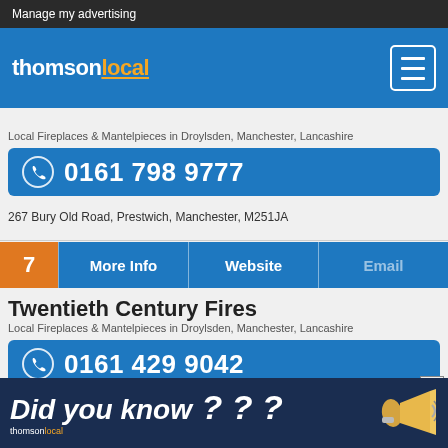Manage my advertising
[Figure (logo): thomsonlocal logo with orange 'local' text and menu icon]
Local Fireplaces & Mantelpieces in Droylsden, Manchester, Lancashire
0161 798 9777
267 Bury Old Road, Prestwich, Manchester, M251JA
7  More Info  Website  Email
Twentieth Century Fires
Local Fireplaces & Mantelpieces in Droylsden, Manchester, Lancashire
0161 429 9042
Graffax House, Stockport, SK13HZ
[Figure (infographic): Did you know??? ad banner with megaphone and thomsonlocal logo]